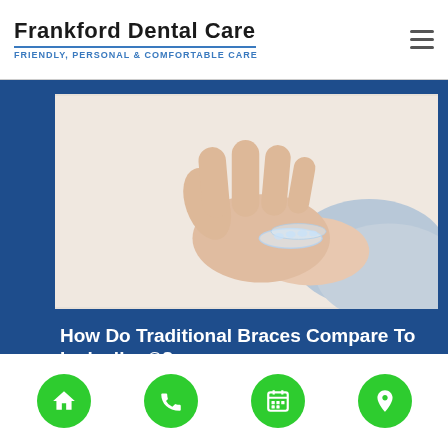Frankford Dental Care — Friendly, Personal & Comfortable Care
[Figure (photo): A hand holding a clear Invisalign dental aligner tray against a white background, person wearing a light blue sleeve]
How Do Traditional Braces Compare To Invisalign®?
Considering Invisalign? Traditional braces used to
Navigation icons: home, phone, calendar, location